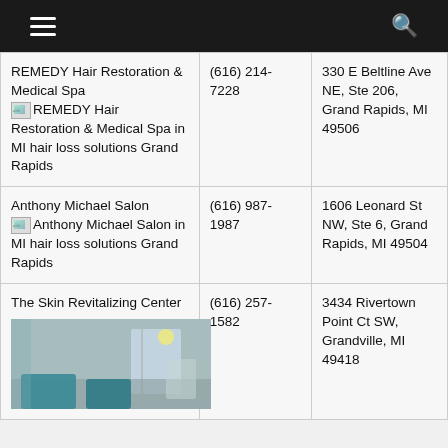Navigation header with hamburger menu and search icon
| Business | Phone | Address |
| --- | --- | --- |
| REMEDY Hair Restoration & Medical Spa [image] REMEDY Hair Restoration & Medical Spa in MI hair loss solutions Grand Rapids | (616) 214-7228 | 330 E Beltline Ave NE, Ste 206, Grand Rapids, MI 49506 |
| Anthony Michael Salon [image] Anthony Michael Salon in MI hair loss solutions Grand Rapids | (616) 987-1987 | 1606 Leonard St NW, Ste 6, Grand Rapids, MI 49504 |
| The Skin Revitalizing Center [room image] | (616) 257-1582 | 3434 Rivertown Point Ct SW, Grandville, MI 49418 |